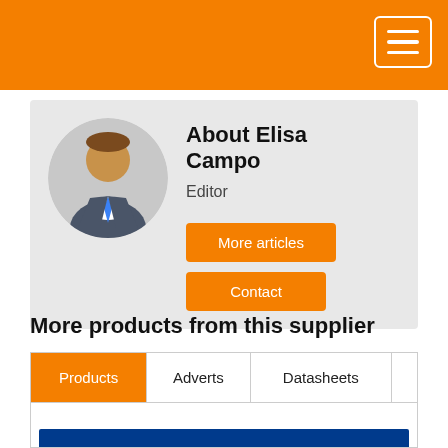About Elisa Campo
Editor
More articles
Contact
More products from this supplier
| Products | Adverts | Datasheets |  |
| --- | --- | --- | --- |
|  |  |  |  |